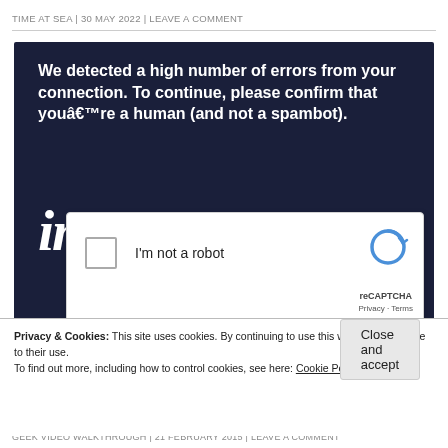TIME AT SEA | 30 MAY 2022 | LEAVE A COMMENT
[Figure (screenshot): Screenshot of a dark navy blue CAPTCHA error page showing text 'We detected a high number of errors from your connection. To continue, please confirm that youâ€™re a human (and not a spambot).' with a reCAPTCHA 'I'm not a robot' checkbox widget overlaid on top.]
Privacy & Cookies: This site uses cookies. By continuing to use this website, you agree to their use.
To find out more, including how to control cookies, see here: Cookie Policy
Close and accept
GEEK VIDEO WALKTHROUGH | 21 FEBRUARY 2015 | LEAVE A COMMENT